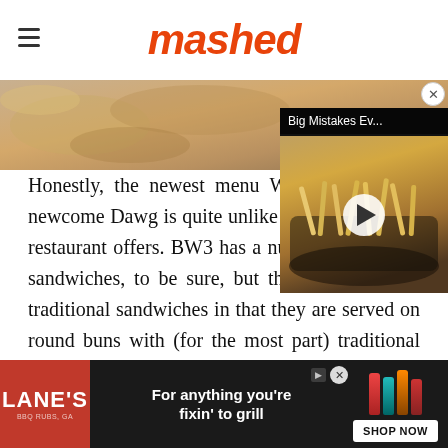mashed
[Figure (screenshot): Food image banner at top of article page, showing golden-brown food items]
[Figure (screenshot): Video overlay thumbnail showing french fries in an air fryer basket, with play button. Title reads 'Big Mistakes Ev...']
Honestly, the newest menu Wings really is a newcome Dawg is quite unlike anything else the restaurant offers. BW3 has a number of chicken sandwiches, to be sure, but they are all rather traditional sandwiches in that they are served on round buns with (for the most part) traditional ingredients like lettuce and tomatoes. Bird Dawgs are on a roll
[Figure (screenshot): Lane's BBQ advertisement banner. Red logo on left with 'LANE'S' text. Center text: 'For anything you're fixin' to grill'. Right side shows spice bottles and a 'SHOP NOW' button.]